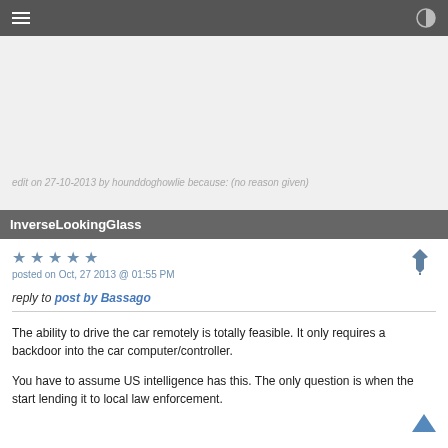edit on 27-10-2013 by hounddoghowlie because: (no reason given)
InverseLookingGlass
posted on Oct, 27 2013 @ 01:55 PM
reply to post by Bassago
The ability to drive the car remotely is totally feasible. It only requires a backdoor into the car computer/controller.

You have to assume US intelligence has this. The only question is when the start lending it to local law enforcement.